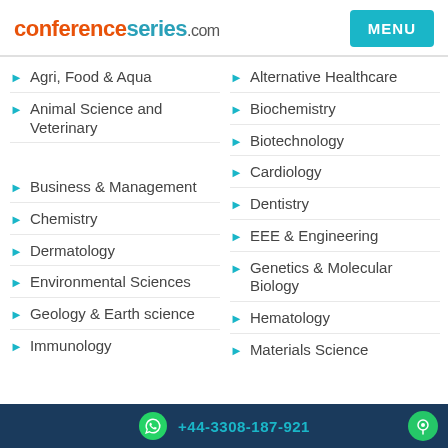conferenceseries.com
Agri, Food & Aqua
Alternative Healthcare
Animal Science and Veterinary
Biochemistry
Biotechnology
Business & Management
Cardiology
Chemistry
Dentistry
Dermatology
EEE & Engineering
Environmental Sciences
Genetics & Molecular Biology
Geology & Earth science
Hematology
Immunology
Materials Science
+44-3308-187-921